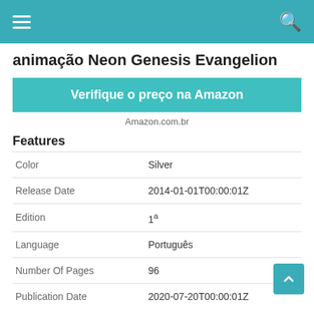animação Neon Genesis Evangelion
Verifique o preço na Amazon
Amazon.com.br
Features
|  |  |
| --- | --- |
| Color | Silver |
| Release Date | 2014-01-01T00:00:01Z |
| Edition | 1ª |
| Language | Português |
| Number Of Pages | 96 |
| Publication Date | 2020-07-20T00:00:01Z |